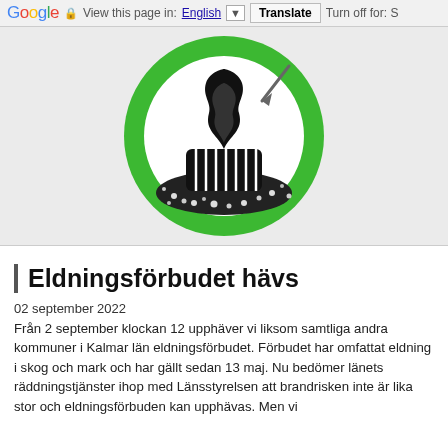Google  View this page in: English [▼]  Translate  Turn off for: S
[Figure (illustration): Green circular sign icon showing a campfire/bonfire on a pile of embers — a fire allowed/permitted sign used in Swedish outdoor regulations. Black flame and log on white background within a green ring. A diagonal arrow/line crosses in from upper right.]
Eldningsförbudet hävs
02 september 2022
Från 2 september klockan 12 upphäver vi liksom samtliga andra kommuner i Kalmar län eldningsförbudet. Förbudet har omfattat eldning i skog och mark och har gällt sedan 13 maj. Nu bedömer länets räddningstjänster ihop med Länsstyrelsen att brandrisken inte är lika stor och eldningsförbuden kan upphävas. Men vi